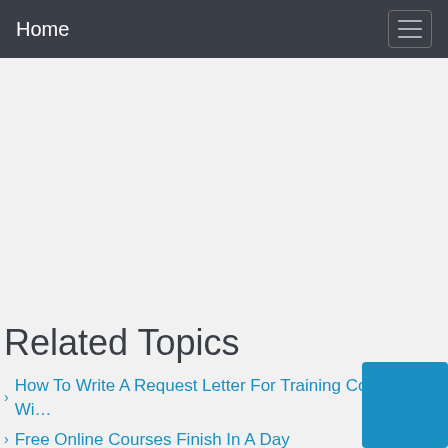Home
Related Topics
How To Write A Request Letter For Training Course Wi…
Free Online Courses Finish In A Day